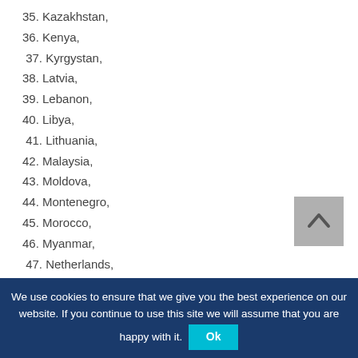35. Kazakhstan,
36. Kenya,
37. Kyrgystan,
38. Latvia,
39. Lebanon,
40. Libya,
41. Lithuania,
42. Malaysia,
43. Moldova,
44. Montenegro,
45. Morocco,
46. Myanmar,
47. Netherlands,
48. North Macedonia,
49. Norway,
50. Oman,
51. Palestine,
52. Philippines,
We use cookies to ensure that we give you the best experience on our website. If you continue to use this site we will assume that you are happy with it.